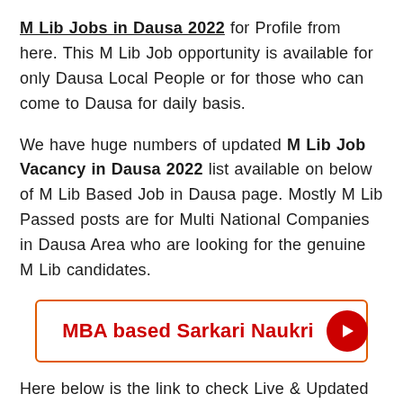M Lib Jobs in Dausa 2022 for Profile from here. This M Lib Job opportunity is available for only Dausa Local People or for those who can come to Dausa for daily basis.
We have huge numbers of updated M Lib Job Vacancy in Dausa 2022 list available on below of M Lib Based Job in Dausa page. Mostly M Lib Passed posts are for Multi National Companies in Dausa Area who are looking for the genuine M Lib candidates.
[Figure (infographic): Red-outlined button with text 'MBA based Sarkari Naukri' and a red circle arrow icon on the right.]
Here below is the link to check Live & Updated M Lib Jobs Opportunities in Dausa now. Applicants are requested to bookmark M Lib Job in Dausa